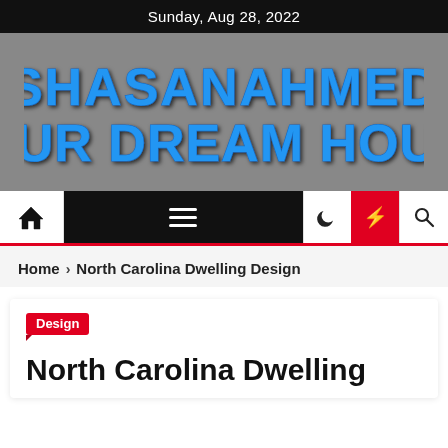Sunday, Aug 28, 2022
[Figure (logo): SHASANAHMED YOUR DREAM HOUSE logo in blue distressed text on grey background]
[Figure (screenshot): Navigation bar with home icon, hamburger menu, moon icon, lightning bolt (red), and search icon]
Home > North Carolina Dwelling Design
Design
North Carolina Dwelling